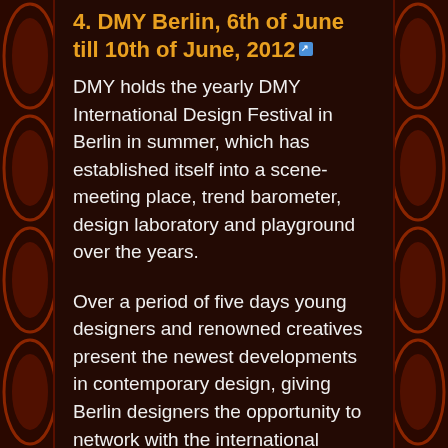4. DMY Berlin, 6th of June till 10th of June, 2012
DMY holds the yearly DMY International Design Festival in Berlin in summer, which has established itself into a scene-meeting place, trend barometer, design laboratory and playground over the years.
Over a period of five days young designers and renowned creatives present the newest developments in contemporary design, giving Berlin designers the opportunity to network with the international design scene.